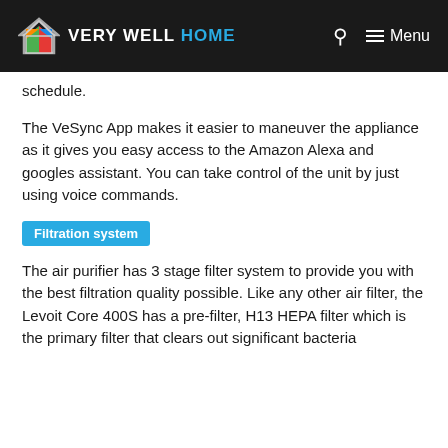VERY WELL HOME
schedule.
The VeSync App makes it easier to maneuver the appliance as it gives you easy access to the Amazon Alexa and googles assistant. You can take control of the unit by just using voice commands.
Filtration system
The air purifier has 3 stage filter system to provide you with the best filtration quality possible. Like any other air filter, the Levoit Core 400S has a pre-filter, H13 HEPA filter which is the primary filter that clears out significant bacteria